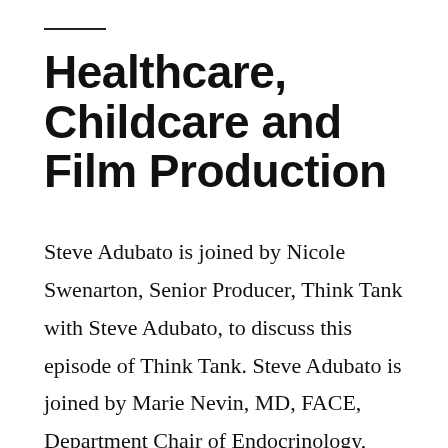Healthcare, Childcare and Film Production
Steve Adubato is joined by Nicole Swenarton, Senior Producer, Think Tank with Steve Adubato, to discuss this episode of Think Tank. Steve Adubato is joined by Marie Nevin, MD, FACE, Department Chair of Endocrinology, Summit Medical Group, to discuss the importance of properly treating